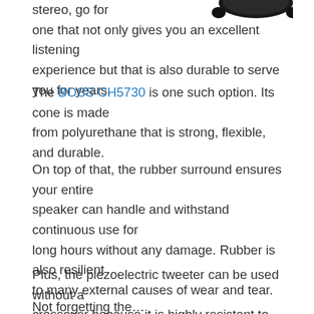[Figure (photo): Partial view of a black car speaker/subwoofer, showing the top curved edge against a white background]
stereo, go for one that not only gives you an excellent listening experience but that is also durable to serve you for years.
The BOSS CH5730 is one such option. Its cone is made from polyurethane that is strong, flexible, and durable.
On top of that, the rubber surround ensures your entire speaker can handle and withstand continuous use for long hours without any damage. Rubber is also resilient to many external causes of wear and tear.
Plus, the piezoelectric tweeter can be used without a crossover because it is highly resistant to overloads.
Not forgetting the…